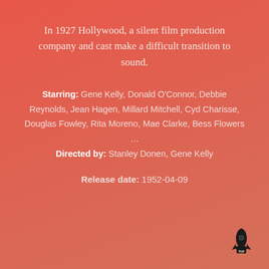In 1927 Hollywood, a silent film production company and cast make a difficult transition to sound.
Starring: Gene Kelly, Donald O'Connor, Debbie Reynolds, Jean Hagen, Millard Mitchell, Cyd Charisse, Douglas Fowley, Rita Moreno, Mae Clarke, Bess Flowers … Directed by: Stanley Donen, Gene Kelly
Release date: 1952-04-09
[Figure (logo): Rocket logo with 'TOP' text at the bottom right corner]